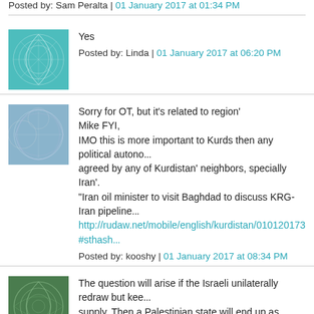Posted by: Sam Peralta | 01 January 2017 at 01:34 PM
[Figure (illustration): Teal fractal/mandala avatar image for Linda]
Yes
Posted by: Linda | 01 January 2017 at 06:20 PM
[Figure (illustration): Blue fractal/geometric avatar image for kooshy]
Sorry for OT, but it's related to region'
Mike FYI,
IMO this is more important to Kurds then any political autono... agreed by any of Kurdistan' neighbors, specially Iran'.
"Iran oil minister to visit Baghdad to discuss KRG-Iran pipeline...
http://rudaw.net/mobile/english/kurdistan/010120173#sthash...
Posted by: kooshy | 01 January 2017 at 08:34 PM
[Figure (illustration): Green swirl/fractal avatar image]
The question will arise if the Israeli unilaterally redraw but kee... supply. Then a Palestinian state will end up as Gaza. No long... no possibility for agriculture as desalinated water is to expens...
What else do the Palestinians have to base an economy on
Posted by: Paul | 02 January 2017 at 01:45 AM